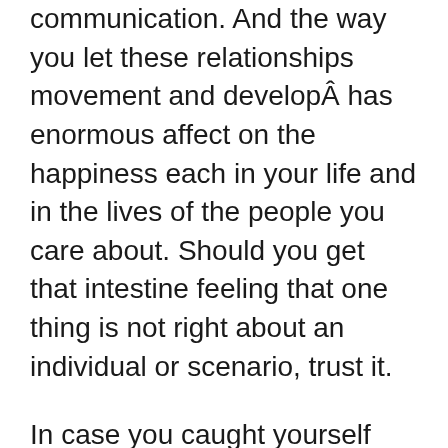communication. And the way you let these relationships movement and developÂ has enormous affect on the happiness each in your life and in the lives of the people you care about. Should you get that intestine feeling that one thing is not right about an individual or scenario, trust it.
In case you caught yourself pondering, hey, I want a perfect relationshipâ€N, we have to cease you proper there. They will help you express emotions that you will have hassle putting into words. But there just a few who can love something regardless ofâ€N.It's a uncommon, pure